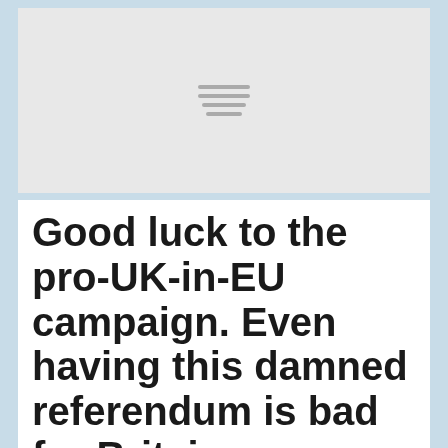[Figure (other): Gray placeholder image area with a hamburger menu icon (three horizontal lines) centered in the middle]
Good luck to the pro-UK-in-EU campaign. Even having this damned referendum is bad for Britain